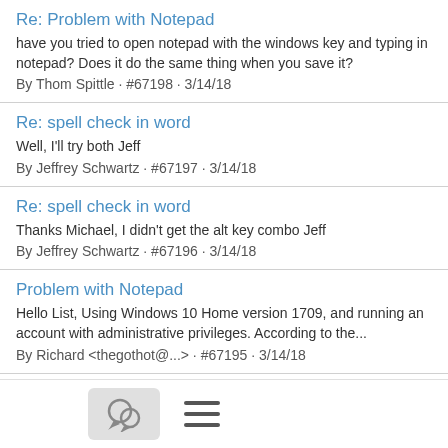Re: Problem with Notepad
have you tried to open notepad with the windows key and typing in notepad? Does it do the same thing when you save it?
By Thom Spittle · #67198 · 3/14/18
Re: spell check in word
Well, I'll try both Jeff
By Jeffrey Schwartz · #67197 · 3/14/18
Re: spell check in word
Thanks Michael, I didn't get the alt key combo Jeff
By Jeffrey Schwartz · #67196 · 3/14/18
Problem with Notepad
Hello List, Using Windows 10 Home version 1709, and running an account with administrative privileges. According to the...
By Richard <thegothot@...> · #67195 · 3/14/18
Airports getting friendlier for blind travelers Harriet Raskas, Special to USA TODAY Aire advisory